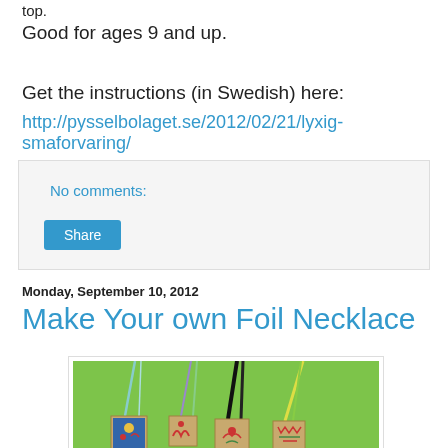top.
Good for ages 9 and up.
Get the instructions (in Swedish) here:
http://pysselbolaget.se/2012/02/21/lyxig-smaforvaring/
No comments:
Share
Monday, September 10, 2012
Make Your own Foil Necklace
[Figure (photo): Photo of several handmade foil necklaces with colored strings/cords on a green background. The pendants appear to be square metallic foil pieces with colorful painted designs on them.]